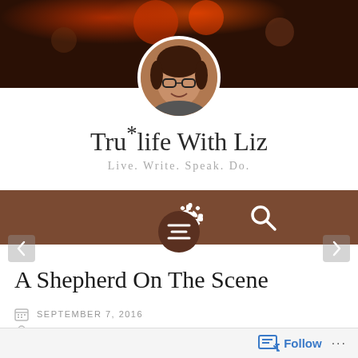[Figure (photo): Header banner with blurred bokeh background in dark reddish-brown tones]
[Figure (photo): Circular avatar portrait photo of a woman with glasses and brown hair, smiling]
Tru*life With Liz
Live. Write. Speak. Do.
[Figure (screenshot): Navigation bar with gear icon on the left, search icon on the right, and hamburger/menu icon in circular button below center]
A Shepherd On The Scene
SEPTEMBER 7, 2016
DENVERTRUJILLO
Follow ...